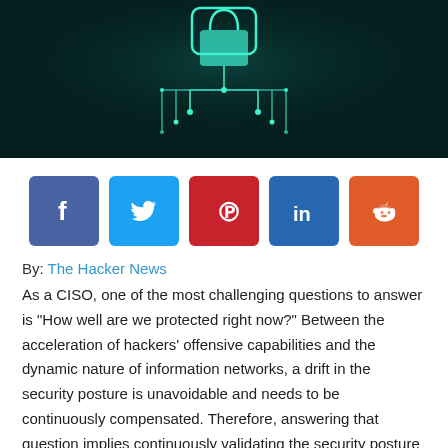[Figure (illustration): Dark teal/black hero image with circuit board and padlock graphic made of glowing teal lines on dark background]
[Figure (infographic): Row of 5 social media share buttons: Facebook (blue), Twitter (light blue), Pinterest (red), LinkedIn (dark blue), Reddit (orange)]
By: The Hacker News
As a CISO, one of the most challenging questions to answer is “How well are we protected right now?” Between the acceleration of hackers’ offensive capabilities and the dynamic nature of information networks, a drift in the security posture is unavoidable and needs to be continuously compensated. Therefore, answering that question implies continuously validating the security posture and being in a position to check it including, against the latest emerging threats.
Yet, the bulk of cybersecurity is focused on defensive tools.
The combination of the rapid evolution of technology and the